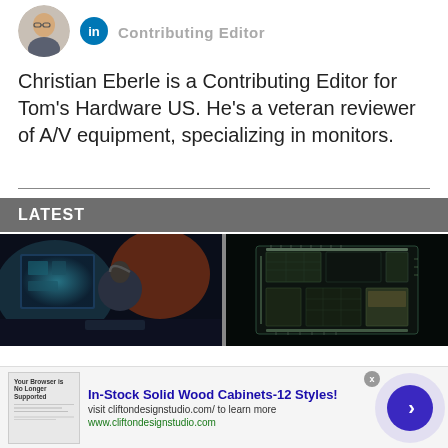[Figure (photo): Author headshot photo of a man with glasses, circular crop, alongside Contributing Editor title and LinkedIn badge]
Christian Eberle is a Contributing Editor for Tom's Hardware US. He's a veteran reviewer of A/V equipment, specializing in monitors.
LATEST
[Figure (photo): Gaming setup photo showing a person at a PC with RGB lighting in a dark room]
[Figure (photo): Close-up of a computer chip/processor die with dark background and glowing edges]
[Figure (infographic): Advertisement banner for In-Stock Solid Wood Cabinets-12 Styles by cliftondesignstudio.com]